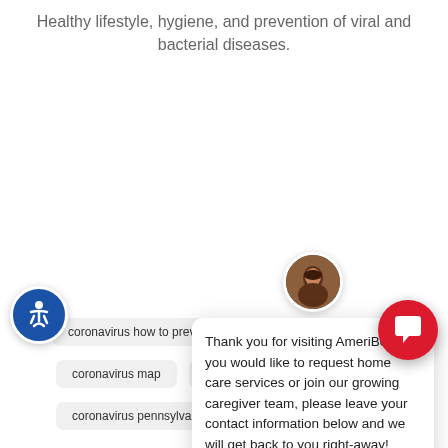Healthy lifestyle, hygiene, and prevention of viral and bacterial diseases.
[Figure (screenshot): Chat popup with avatar of a woman, close button (×), and message: 'Thank you for visiting AmeriBest! If you would like to request home care services or join our growing caregiver team, please leave your contact information below and we will get back to you right-away!']
coronavirus how to prevent
coronavirus in us
coronavirus map
coronavirus news
coronavirus
coronavirus pennsylvania
coronavirus philadelphia